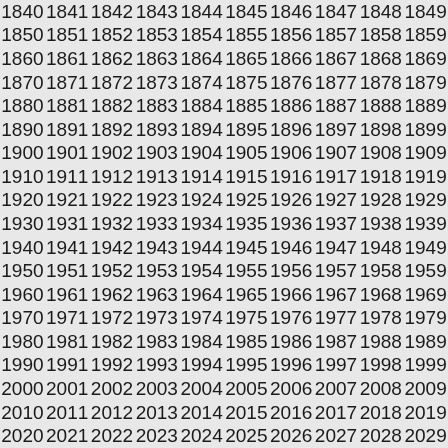| 1840 | 1841 | 1842 | 1843 | 1844 | 1845 | 1846 | 1847 | 1848 | 1849 |
| 1850 | 1851 | 1852 | 1853 | 1854 | 1855 | 1856 | 1857 | 1858 | 1859 |
| 1860 | 1861 | 1862 | 1863 | 1864 | 1865 | 1866 | 1867 | 1868 | 1869 |
| 1870 | 1871 | 1872 | 1873 | 1874 | 1875 | 1876 | 1877 | 1878 | 1879 |
| 1880 | 1881 | 1882 | 1883 | 1884 | 1885 | 1886 | 1887 | 1888 | 1889 |
| 1890 | 1891 | 1892 | 1893 | 1894 | 1895 | 1896 | 1897 | 1898 | 1899 |
| 1900 | 1901 | 1902 | 1903 | 1904 | 1905 | 1906 | 1907 | 1908 | 1909 |
| 1910 | 1911 | 1912 | 1913 | 1914 | 1915 | 1916 | 1917 | 1918 | 1919 |
| 1920 | 1921 | 1922 | 1923 | 1924 | 1925 | 1926 | 1927 | 1928 | 1929 |
| 1930 | 1931 | 1932 | 1933 | 1934 | 1935 | 1936 | 1937 | 1938 | 1939 |
| 1940 | 1941 | 1942 | 1943 | 1944 | 1945 | 1946 | 1947 | 1948 | 1949 |
| 1950 | 1951 | 1952 | 1953 | 1954 | 1955 | 1956 | 1957 | 1958 | 1959 |
| 1960 | 1961 | 1962 | 1963 | 1964 | 1965 | 1966 | 1967 | 1968 | 1969 |
| 1970 | 1971 | 1972 | 1973 | 1974 | 1975 | 1976 | 1977 | 1978 | 1979 |
| 1980 | 1981 | 1982 | 1983 | 1984 | 1985 | 1986 | 1987 | 1988 | 1989 |
| 1990 | 1991 | 1992 | 1993 | 1994 | 1995 | 1996 | 1997 | 1998 | 1999 |
| 2000 | 2001 | 2002 | 2003 | 2004 | 2005 | 2006 | 2007 | 2008 | 2009 |
| 2010 | 2011 | 2012 | 2013 | 2014 | 2015 | 2016 | 2017 | 2018 | 2019 |
| 2020 | 2021 | 2022 | 2023 | 2024 | 2025 | 2026 | 2027 | 2028 | 2029 |